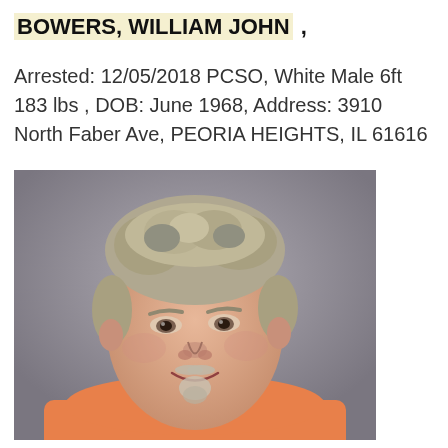BOWERS, WILLIAM JOHN ,
Arrested: 12/05/2018 PCSO, White Male 6ft 183 lbs , DOB: June 1968, Address: 3910 North Faber Ave, PEORIA HEIGHTS, IL 61616
[Figure (photo): Mugshot of William John Bowers, a white male with gray-blonde hair and goatee, wearing an orange shirt, against a gray background.]